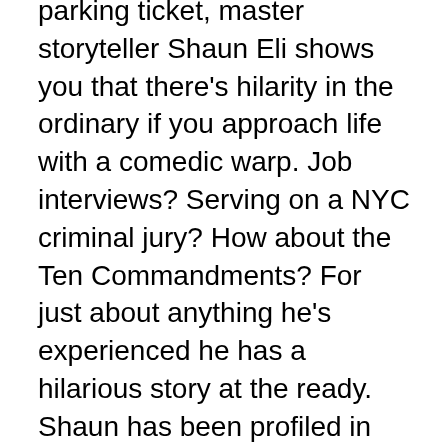parking ticket, master storyteller Shaun Eli shows you that there's hilarity in the ordinary if you approach life with a comedic warp. Job interviews? Serving on a NYC criminal jury? How about the Ten Commandments? For just about anything he's experienced he has a hilarious story at the ready. Shaun has been profiled in The New York Times.
With a sense of humor that's both cheerful and universal Shaun has headlined shows on five continents. His jokes have been quoted everywhere from the New York Post to Forbes to Readers Digest to Healthcare Finance News. In both Reform Judaism magazine and the Christian Science Monitor, where he was the subject of the cover story. He's been featured on CareerBuilder.com and CNN, in local papers like the Scarsdale Inquirer and the Asbury Park Press and in the college papers the Yale Daily News and the Daily Pennsylvanian. Even in The Journal of Irreproducible Results, a scientific